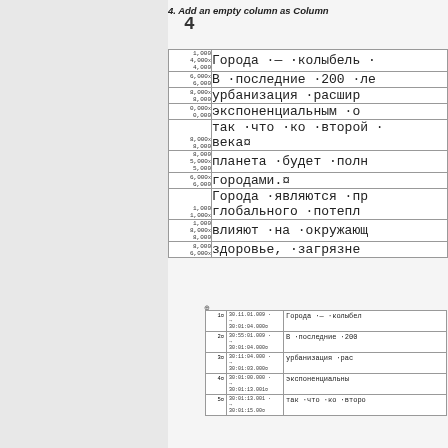4. Add an empty column as Column
4
| row# | content |
| --- | --- |
| 1,000 / 4,000x / 4,000 | Города — колыбель ч |
| 6,000x / 6,000 | В последние 200 ле |
| 8,000x / 8,000 | урбанизация расшир |
| 0,000x / 0,000 | экспоненциальным о |
| 8,000x / 8,000 | так что ко второй / века¤ |
| 8,000 / 5,000x / 5,000 | планета будет полн |
| 6,000x / 6,000 | городами.¤ |
| 1,000 / 1,000x | Города являются пр / глобального потепл |
| 1,000 / 8,000x / 8,000 | влияют на окружающ |
| 8,000 / 6,000x | здоровье, загрязне |
| # | timestamp | text |
| --- | --- | --- |
| 1¤ | 30.11.01.009 → / 30:01:04.000¤ | Города — колыбел |
| 2¤ | 30:55:01.009 → / 30:01:04.000¤ | В последние 200 |
| 3¤ | 30:11:04.000 → / 30:01:03.000¤ | урбанизация расс |
| 4¤ | 30:01:00.000 → / 30:01:13.001¤ | экспоненциальны |
| 5¤ | 30:01:13.001 →  / 30:01:15.00¤ | так что ко второ |